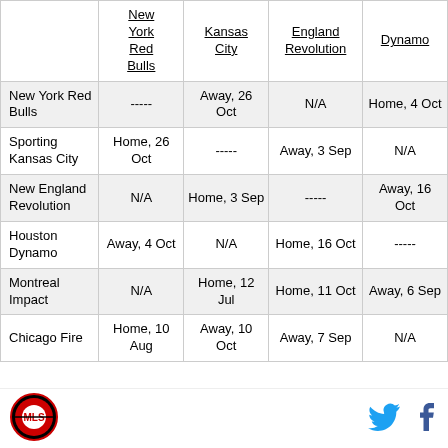|  | New York Red Bulls | Sporting Kansas City | New England Revolution | Houston Dynamo |
| --- | --- | --- | --- | --- |
| New York Red Bulls | ----- | Away, 26 Oct | N/A | Home, 4 Oct |
| Sporting Kansas City | Home, 26 Oct | ----- | Away, 3 Sep | N/A |
| New England Revolution | N/A | Home, 3 Sep | ----- | Away, 16 Oct |
| Houston Dynamo | Away, 4 Oct | N/A | Home, 16 Oct | ----- |
| Montreal Impact | N/A | Home, 12 Jul | Home, 11 Oct | Away, 6 Sep |
| Chicago Fire | Home, 10 Aug | Away, 10 Oct | Away, 7 Sep | N/A |
[Figure (logo): MLS team logo, circular red and black emblem]
[Figure (logo): Twitter bird social media icon in blue]
[Figure (logo): Facebook f social media icon in dark blue]